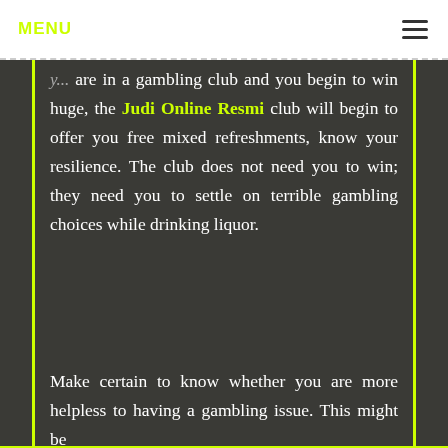MENU
y... are in a gambling club and you begin to win huge, the Judi Online Resmi club will begin to offer you free mixed refreshments, know your resilience. The club does not need you to win; they need you to settle on terrible gambling choices while drinking liquor.
Make certain to know whether you are more helpless to having a gambling issue. This might be